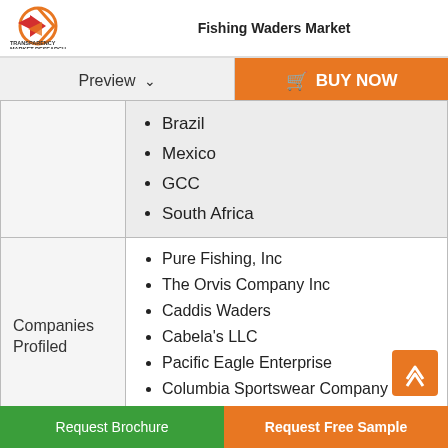Fishing Waders Market
Preview
BUY NOW
Brazil
Mexico
GCC
South Africa
Companies Profiled
Pure Fishing, Inc
The Orvis Company Inc
Caddis Waders
Cabela's LLC
Pacific Eagle Enterprise
Columbia Sportswear Company
Patagonia Inc
Request Brochure   Request Free Sample